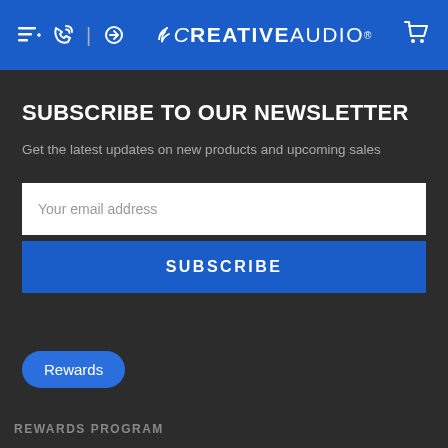CREATIVE AUDIO
SUBSCRIBE TO OUR NEWSLETTER
Get the latest updates on new products and upcoming sales
Your email address
SUBSCRIBE
Rewards
REWARDS PROGRAM